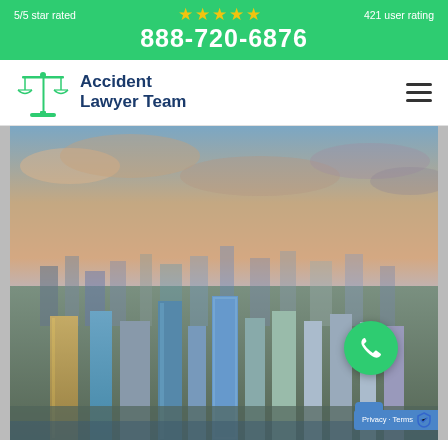5/5 star rated ★★★★★ 421 user rating
888-720-6876
[Figure (logo): Accident Lawyer Team logo with scales of justice icon in green and blue text]
[Figure (photo): Aerial cityscape photo of Miami/city skyline at dusk with colorful sky and tall buildings, green phone call button overlay, scroll-up button, and Privacy/Terms recaptcha badge]